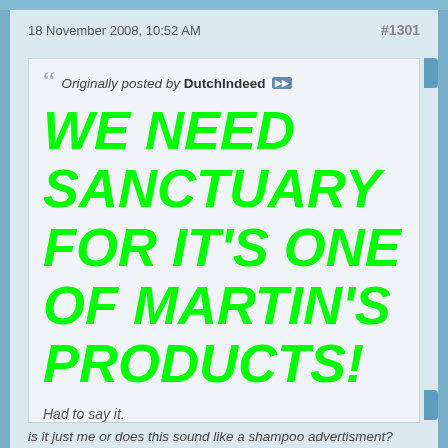18 November 2008, 10:52 AM   #1301
Originally posted by DutchIndeed
WE NEED SANCTUARY FOR IT'S ONE OF MARTIN'S PRODUCTS!
Had to say it.
But yes, perhaps 😊
is it just me or does this sound like a shampoo advertisment?